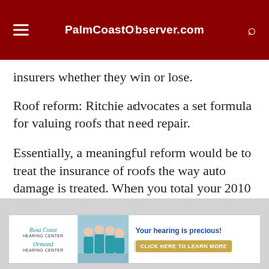PalmCoastObserver.com
insurers whether they win or lose.
Roof reform: Ritchie advocates a set formula for valuing roofs that need repair.
Essentially, a meaningful reform would be to treat the insurance of roofs the way auto damage is treated. When you total your 2010 Ford, your insurer doesn't give you a check to buy a new car; the check is for the depreciated value of the car, or
[Figure (other): Advertisement for Rosa Coast Hearing Center and Ormond Hearing Center with group photo of staff in teal scrubs. Headline: 'Your hearing is precious!' with a gold button 'CLICK HERE TO LEARN MORE'.]